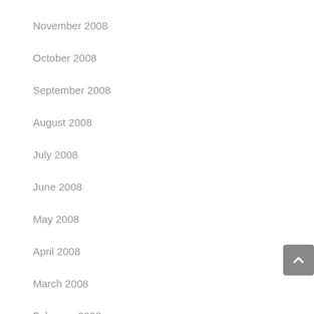November 2008
October 2008
September 2008
August 2008
July 2008
June 2008
May 2008
April 2008
March 2008
February 2008
January 2008
December 2007